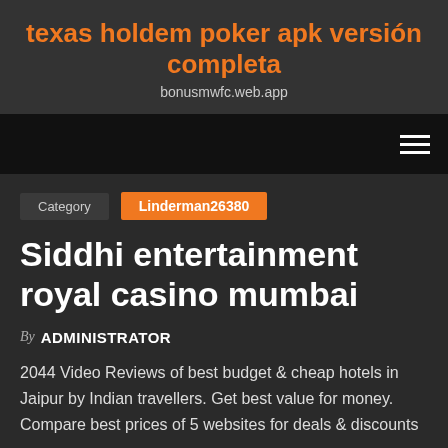texas holdem poker apk versión completa
bonusmwfc.web.app
Category  Linderman26380
Siddhi entertainment royal casino mumbai
By ADMINISTRATOR
2044 Video Reviews of best budget & cheap hotels in Jaipur by Indian travellers. Get best value for money. Compare best prices of 5 websites for deals & discounts on